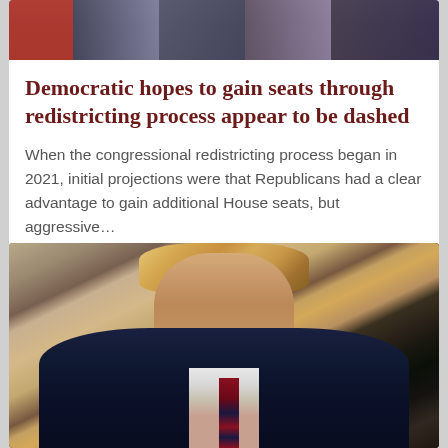[Figure (photo): Photograph showing people at what appears to be a political event with flags in the background, partially cropped at top of page]
Democratic hopes to gain seats through redistricting process appear to be dashed
When the congressional redistricting process began in 2021, initial projections were that Republicans had a clear advantage to gain additional House seats, but aggressive…
[Figure (photo): Photograph of a man in a dark suit with striped tie standing in front of a door or window with green foliage visible]